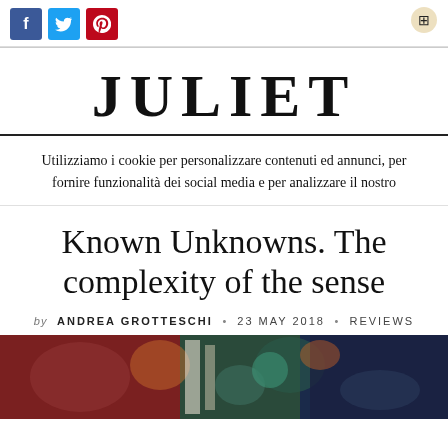[Figure (infographic): Social media sharing icons: Facebook (blue), Twitter (cyan), Pinterest (red), and a small circular icon top right]
JULIET
Utilizziamo i cookie per personalizzare contenuti ed annunci, per fornire funzionalità dei social media e per analizzare il nostro
Known Unknowns. The complexity of the sense
by ANDREA GROTTESCHI • 23 MAY 2018 • REVIEWS
[Figure (photo): Colorful artwork or painting photograph at the bottom of the page, showing abstract or figurative imagery with dark red, blue, and green tones]